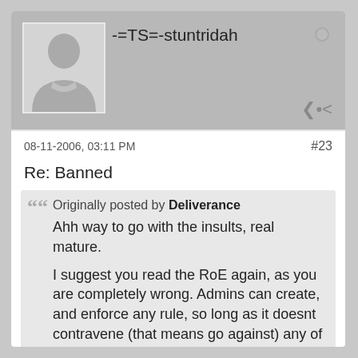[Figure (illustration): User avatar placeholder showing a generic silhouette of a person in grey tones]
-=TS=-stuntridah
08-11-2006, 03:11 PM
#23
Re: Banned
Originally posted by Deliverance
Ahh way to go with the insults, real mature.

I suggest you read the RoE again, as you are completely wrong. Admins can create, and enforce any rule, so long as it doesnt contravene (that means go against) any of the current RoE.

Thus, that rule is perfectly legitamate, and actually very common. If you cant be arsed to abide by the rules of the server